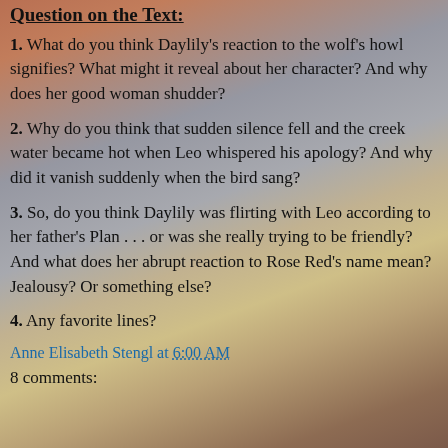Question on the Text:
1. What do you think Daylily's reaction to the wolf's howl signifies? What might it reveal about her character? And why does her good woman shudder?
2. Why do you think that sudden silence fell and the creek water became hot when Leo whispered his apology? And why did it vanish suddenly when the bird sang?
3. So, do you think Daylily was flirting with Leo according to her father's Plan . . . or was she really trying to be friendly? And what does her abrupt reaction to Rose Red's name mean? Jealousy? Or something else?
4. Any favorite lines?
Anne Elisabeth Stengl at 6:00 AM
8 comments: